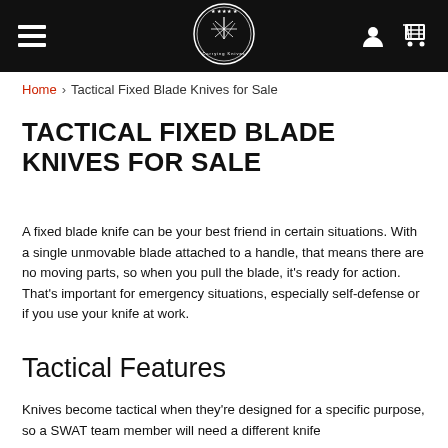[Figure (logo): Black navigation header bar with hamburger menu on left, circular knife brand logo in center, person icon and shopping cart icon on right]
Home › Tactical Fixed Blade Knives for Sale
TACTICAL FIXED BLADE KNIVES FOR SALE
A fixed blade knife can be your best friend in certain situations. With a single unmovable blade attached to a handle, that means there are no moving parts, so when you pull the blade, it's ready for action. That's important for emergency situations, especially self-defense or if you use your knife at work.
Tactical Features
Knives become tactical when they're designed for a specific purpose, so a SWAT team member will need a different knife